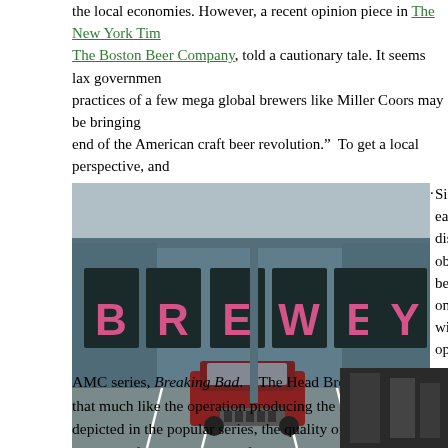the local economies. However, a recent opinion piece in The New York Times featuring The Boston Beer Company, told a cautionary tale. It seems lax government practices of a few mega global brewers like Miller Coors may be bringing end of the American craft beer revolution.”  To get a local perspective, and ample reasons to visit Demented Brewing in Middlesex, NJ.  After the field final four, Demented was named the best craft brewery in New Jersey by th
[Figure (photo): Exterior of Demented Brewing showing a teal/grey industrial building with the word BREWERY spelled out in large pink/red letters across the facade, a red Jeep parked in front in a parking lot.]
The word BREWERY marks the spot.
Siri got me to 600 easily enough, bu disconcerting.  Se obscured by anoth be a former auto r on black spelling, windows, and you open garage door stainless steel equ
AMC series, Breaking Bad.    The Head Brewer later confided that much like the operation producing the illicit product depicted in the popular series, the quality of the beer largely depends of the cleanliness of the equipment.  A large part of a